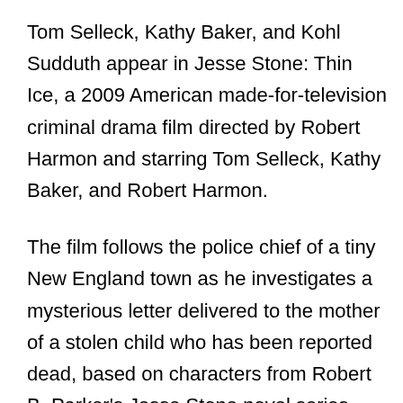Tom Selleck, Kathy Baker, and Kohl Sudduth appear in Jesse Stone: Thin Ice, a 2009 American made-for-television criminal drama film directed by Robert Harmon and starring Tom Selleck, Kathy Baker, and Robert Harmon.
The film follows the police chief of a tiny New England town as he investigates a mysterious letter delivered to the mother of a stolen child who has been reported dead, based on characters from Robert B. Parker's Jesse Stone novel series.
In Jesse Stone: Thin Ice (2009), Captain Healy of the State Police is assaulted but is rescued by Jesse, who, although being injured, manages to...